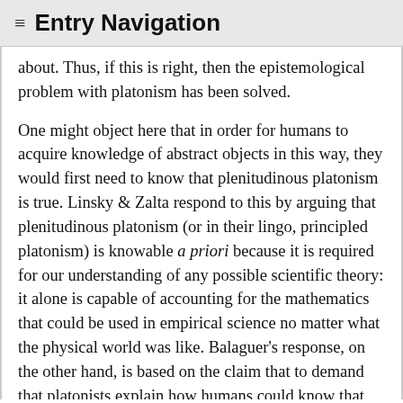≡ Entry Navigation
about. Thus, if this is right, then the epistemological problem with platonism has been solved.

One might object here that in order for humans to acquire knowledge of abstract objects in this way, they would first need to know that plenitudinous platonism is true. Linsky & Zalta respond to this by arguing that plenitudinous platonism (or in their lingo, principled platonism) is knowable a priori because it is required for our understanding of any possible scientific theory: it alone is capable of accounting for the mathematics that could be used in empirical science no matter what the physical world was like. Balaguer's response, on the other hand, is based on the claim that to demand that platonists explain how humans could know that FBP is true is exactly analogous to demanding that external-world realists (i.e., those who believe that there is a real physical world, existing independently of us and our thinking) explain how human beings could know that there is an external world of a kind that gives rise to accurate sense